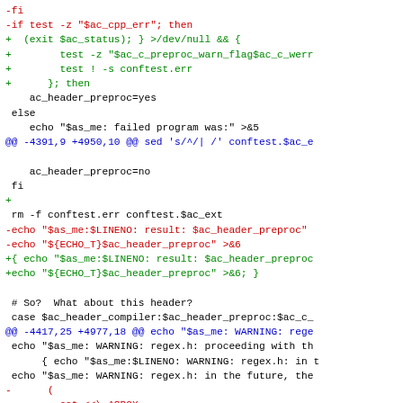diff/patch code snippet showing shell script changes with red (removed), green (added), and blue (context hunk header) lines